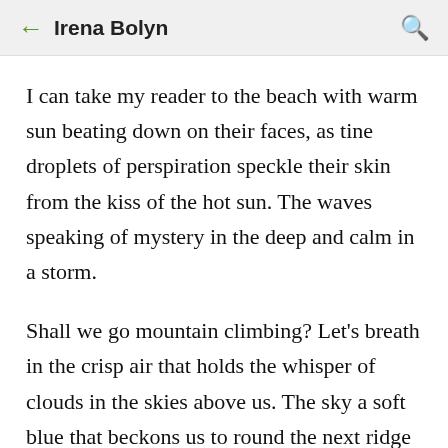Irena Bolyn
I can take my reader to the beach with warm sun beating down on their faces, as tine droplets of perspiration speckle their skin from the kiss of the hot sun. The waves speaking of mystery in the deep and calm in a storm.
Shall we go mountain climbing? Let's breath in the crisp air that holds the whisper of clouds in the skies above us. The sky a soft blue that beckons us to round the next ridge to only have our breath taken away by the beauty before us. The sharp edges of rock beckoning us to cling to